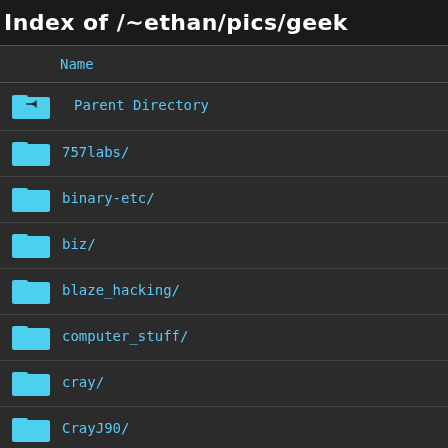Index of /~ethan/pics/geek
| Name |  |
| --- | --- |
| Parent Directory |  |
| 757labs/ |  |
| binary-etc/ |  |
| biz/ |  |
| blaze_hacking/ |  |
| computer_stuff/ |  |
| cray/ |  |
| CrayJ90/ |  |
| dance/ |  |